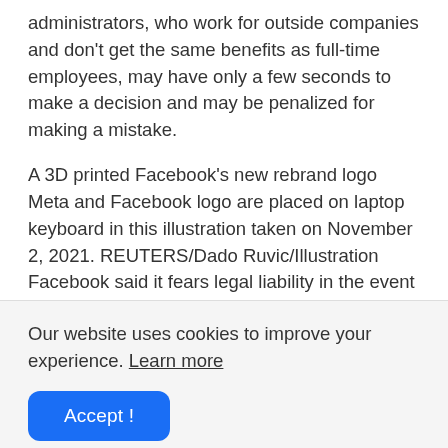administrators, who work for outside companies and don't get the same benefits as full-time employees, may have only a few seconds to make a decision and may be penalized for making a mistake.
A 3D printed Facebook's new rebrand logo Meta and Facebook logo are placed on laptop keyboard in this illustration taken on November 2, 2021. REUTERS/Dado Ruvic/Illustration
Facebook said it fears legal liability in the event of false reports on images (Reuters)
Facebook says it reports more child sexual abuse material than any other company, and says classifying the bug with
Our website uses cookies to improve your experience. Learn more